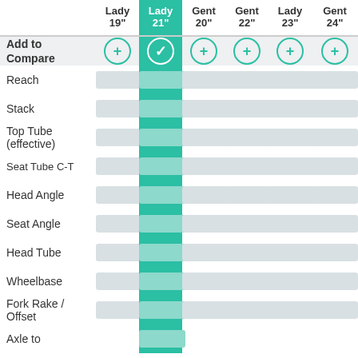|  | Lady 19" | Lady 21" | Gent 20" | Gent 22" | Lady 23" | Gent 24" |
| --- | --- | --- | --- | --- | --- | --- |
| Add to Compare | + | ✓ | + | + | + | + |
| Reach |  |  |  |  |  |  |
| Stack |  |  |  |  |  |  |
| Top Tube (effective) |  |  |  |  |  |  |
| Seat Tube C-T |  |  |  |  |  |  |
| Head Angle |  |  |  |  |  |  |
| Seat Angle |  |  |  |  |  |  |
| Head Tube |  |  |  |  |  |  |
| Wheelbase |  |  |  |  |  |  |
| Fork Rake / Offset |  |  |  |  |  |  |
| Axle to |  |  |  |  |  |  |